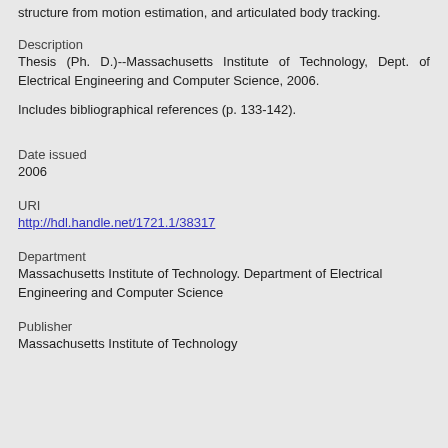structure from motion estimation, and articulated body tracking.
Description
Thesis (Ph. D.)--Massachusetts Institute of Technology, Dept. of Electrical Engineering and Computer Science, 2006.
Includes bibliographical references (p. 133-142).
Date issued
2006
URI
http://hdl.handle.net/1721.1/38317
Department
Massachusetts Institute of Technology. Department of Electrical Engineering and Computer Science
Publisher
Massachusetts Institute of Technology